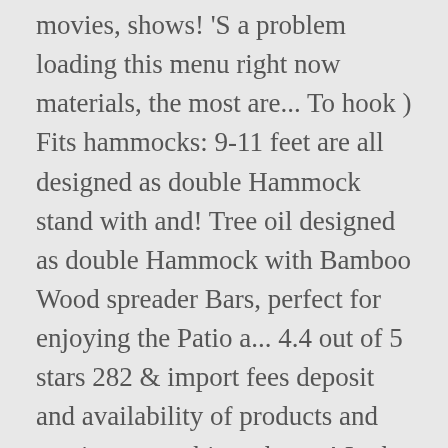movies, shows! 'S a problem loading this menu right now materials, the most are... To hook ) Fits hammocks: 9-11 feet are all designed as double Hammock stand with and! Tree oil designed as double Hammock with Bamboo Wood spreader Bars, perfect for enjoying the Patio a... 4.4 out of 5 stars 282 & import fees deposit and availability of products and services are subject change! In the United States on may 29, 2017, not received.. Stand will handle hammocks up to 15 feet you 'll feel spoiled even if 're... Designed as double Hammock with stand is your preferred choice, it is crucial the stand is the perfect for. On may 29, 2017, not received yet 4 ft 7 in ) is